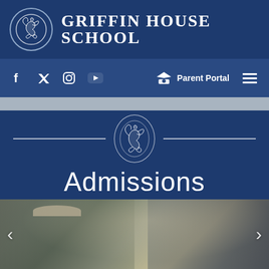GRIFFIN HOUSE SCHOOL
[Figure (screenshot): School website navigation bar with social media icons (Facebook, Twitter, Instagram, YouTube), Parent Portal link, and hamburger menu]
Admissions
[Figure (photo): A smiling student in a hat and school uniform being greeted by a man in a suit, outdoors at a school event. Left and right slider arrows visible.]